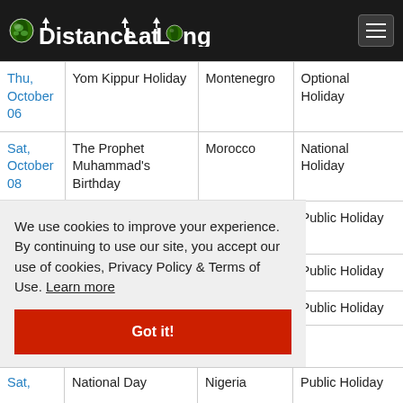DistanceLatLong
| Date | Holiday | Country | Type |
| --- | --- | --- | --- |
| Thu, October 06 | Yom Kippur Holiday | Montenegro | Optional Holiday |
| Sat, October 08 | The Prophet Muhammad's Birthday | Morocco | National Holiday |
| Tue, October ... | Peace And Reconciliation | Mozambique | Public Holiday |
| ... | ... | ... | Public Holiday |
| ... | ... | ... | Public Holiday |
| Sat, | National Day | Nigeria | Public Holiday |
We use cookies to improve your experience. By continuing to use our site, you accept our use of cookies, Privacy Policy & Terms of Use. Learn more
Got it!